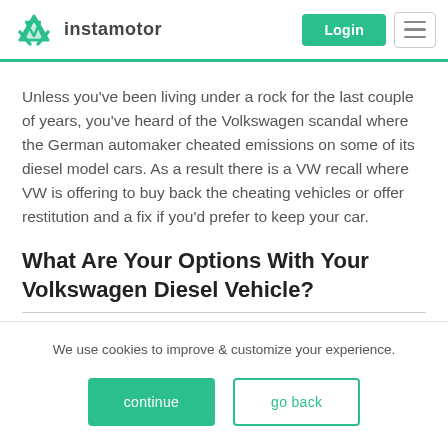instamotor — Login
Unless you've been living under a rock for the last couple of years, you've heard of the Volkswagen scandal where the German automaker cheated emissions on some of its diesel model cars. As a result there is a VW recall where VW is offering to buy back the cheating vehicles or offer restitution and a fix if you'd prefer to keep your car.
What Are Your Options With Your Volkswagen Diesel Vehicle?
We use cookies to improve & customize your experience.
continue    go back